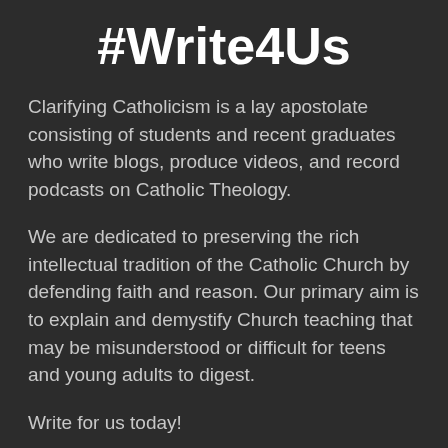#Write4Us
Clarifying Catholicism is a lay apostolate consisting of students and recent graduates who write blogs, produce videos, and record podcasts on Catholic Theology.
We are dedicated to preserving the rich intellectual tradition of the Catholic Church by defending faith and reason. Our primary aim is to explain and demystify Church teaching that may be misunderstood or difficult for teens and young adults to digest.
Write for us today!